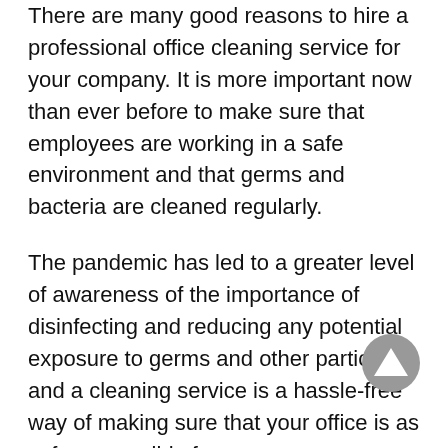There are many good reasons to hire a professional office cleaning service for your company. It is more important now than ever before to make sure that employees are working in a safe environment and that germs and bacteria are cleaned regularly.
The pandemic has led to a greater level of awareness of the importance of disinfecting and reducing any potential exposure to germs and other particles, and a cleaning service is a hassle-free way of making sure that your office is as safe as possible for everyone.
Share this: